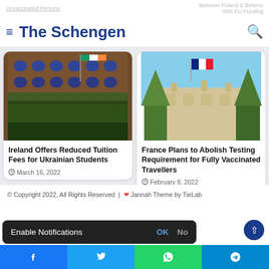The Schengen
[Figure (photo): Building with Irish flag flying, brick facade with blue arched windows and balcony with plants]
Ireland Offers Reduced Tuition Fees for Ukrainian Students
March 16, 2022
[Figure (photo): French building with French flag, conical topiary trees in foreground, neoclassical architecture]
France Plans to Abolish Testing Requirement for Fully Vaccinated Travellers
February 8, 2022
© Copyright 2022, All Rights Reserved | ❤ Jannah Theme by TieLabs
Enable Notifications OK No